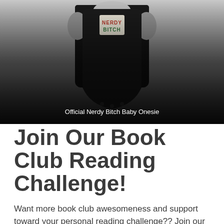[Figure (photo): Black baby onesie with a small 'Nerdy Bitch' logo patch on the chest, shown on a gradient background from dark to light gray at the bottom. Caption reads 'Official Nerdy Bitch Baby Onesie'.]
Official Nerdy Bitch Baby Onesie
Join Our Book Club Reading Challenge!
Want more book club awesomeness and support toward your personal reading challenge?? Join our private Facebook Group by clicking the image below!